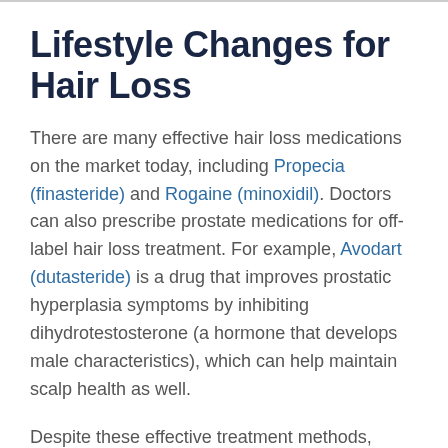Lifestyle Changes for Hair Loss
There are many effective hair loss medications on the market today, including Propecia (finasteride) and Rogaine (minoxidil). Doctors can also prescribe prostate medications for off-label hair loss treatment. For example, Avodart (dutasteride) is a drug that improves prostatic hyperplasia symptoms by inhibiting dihydrotestosterone (a hormone that develops male characteristics), which can help maintain scalp health as well.
Despite these effective treatment methods,